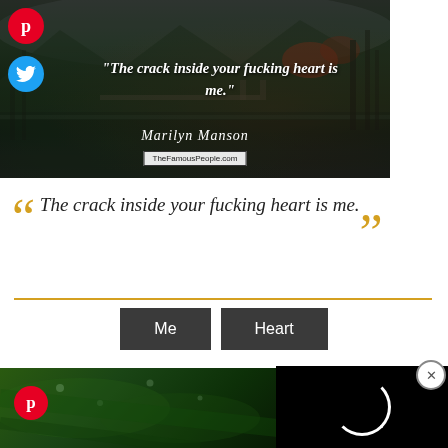[Figure (photo): Dark moody landscape photo with lake and trees with overlaid quote text: 'The crack inside your fucking heart is me.' attributed to Marilyn Manson. Pinterest and Twitter social share buttons visible on left. TheFamousPeople.com watermark at bottom.]
“The crack inside your fucking heart is me.”
Marilyn Manson
The crack inside your fucking heart is me.
Me   Heart
Marilyn Manson
[Figure (photo): Green nature/plant close-up photo at bottom left with Pinterest button overlay, and black panel at bottom right with loading spinner circle.]